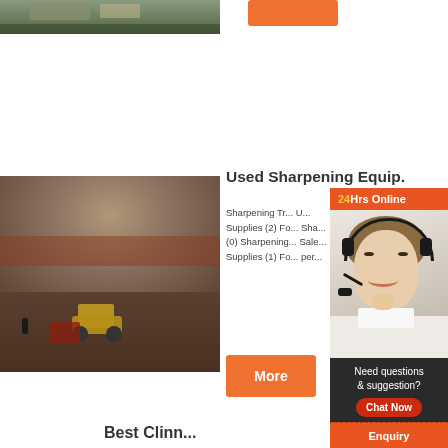[Figure (photo): Construction/industrial site aerial photo at top left]
[Figure (other): Orange button/banner at top right]
[Figure (photo): Quarry site with excavator machinery and large rock face]
Used Sharpening Equip...
Sharpening Tr... U... Supplies (2) Fo... Sha... (0) Sharpening... Sale... Supplies (1) Fo... per...
[Figure (photo): Customer service agent with headset - 24Hrs Online chat widget overlay showing agent photo, Need questions & suggestion?, Chat Now button, Enquiry link, limingjlmofen link]
[Figure (other): Orange More button]
Best Clinn...